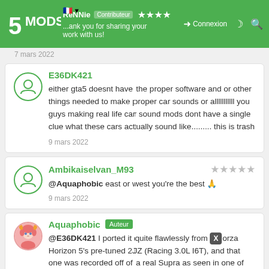5MODS — ReNNie [username badge] ★★★★ — Connexion — thank you for sharing your work with us!
7 mars 2022
E36DK421 — either gta5 doesnt have the proper software and or other things needed to make proper car sounds or alllllllllll you guys making real life car sound mods dont have a single clue what these cars actually sound like......... this is trash — 9 mars 2022
Ambikaiselvan_M93 ★★★★★ — @Aquaphobic east or west you're the best 🙏 — 9 mars 2022
Aquaphobic [Auteur] — @E36DK421 I ported it quite flawlessly from [X] Forza Horizon 5's pre-tuned 2JZ (Racing 3.0L I6T), and that one was recorded off of a real Supra as seen in one of